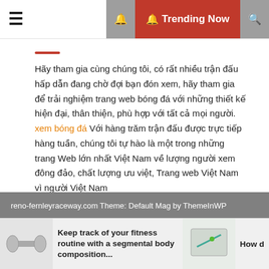☰  🔔 Trending Now 🔍
Hãy tham gia cùng chúng tôi, có rất nhiều trận đấu hấp dẫn đang chờ đợi bạn đón xem, hãy tham gia để trải nghiệm trang web bóng đá với những thiết kế hiện đại, thân thiện, phù hợp với tất cả mọi người. xem bóng đá Với hàng trăm trận đấu được trực tiếp hàng tuần, chúng tôi tự hào là một trong những trang Web lớn nhất Việt Nam về lượng người xem đông đảo, chất lượng ưu việt, Trang web Việt Nam vì người Việt Nam
reno-fernleyraceway.com Theme: Default Mag by ThemeInWP
Keep track of your fitness routine with a segmental body composition...
How d